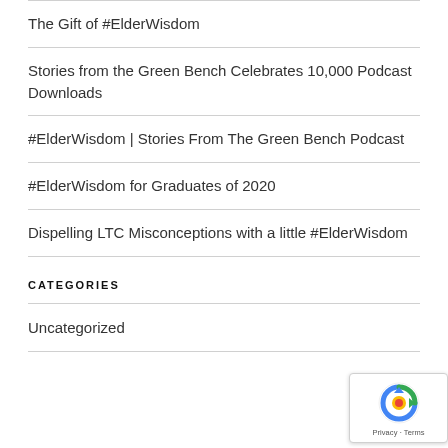The Gift of #ElderWisdom
Stories from the Green Bench Celebrates 10,000 Podcast Downloads
#ElderWisdom | Stories From The Green Bench Podcast
#ElderWisdom for Graduates of 2020
Dispelling LTC Misconceptions with a little #ElderWisdom
CATEGORIES
Uncategorized